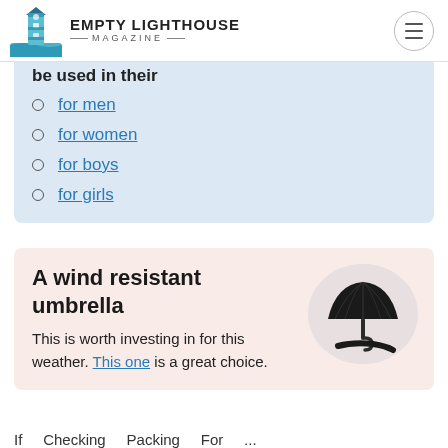EMPTY LIGHTHOUSE MAGAZINE
be used in their
for men
for women
for boys
for girls
A wind resistant umbrella
This is worth investing in for this weather. This one is a great choice.
If ... Checking ... Packing ... For ...